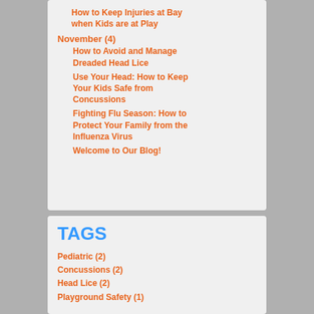How to Keep Injuries at Bay when Kids are at Play
November (4)
How to Avoid and Manage Dreaded Head Lice
Use Your Head: How to Keep Your Kids Safe from Concussions
Fighting Flu Season: How to Protect Your Family from the Influenza Virus
Welcome to Our Blog!
TAGS
Pediatric (2)
Concussions (2)
Head Lice (2)
Playground Safety (1)